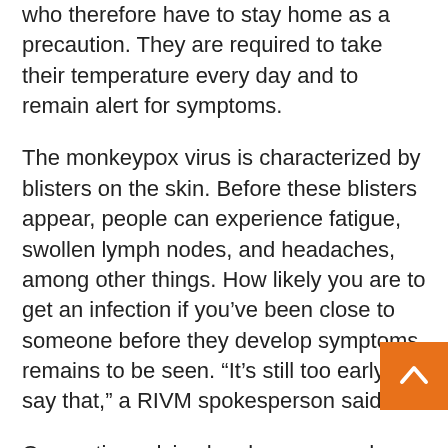who therefore have to stay home as a precaution. They are required to take their temperature every day and to remain alert for symptoms.
The monkeypox virus is characterized by blisters on the skin. Before these blisters appear, people can experience fatigue, swollen lymph nodes, and headaches, among other things. How likely you are to get an infection if you've been close to someone before they develop symptoms remains to be seen. “It’s still too early to say that,” a RIVM spokesperson said.
Quarantine advice has been passed on to the GGDs, but has not yet been explained on the RIVM website. According to the spokesperson, the a can still be changed. “This is very new, and the will be more coordination next week.”